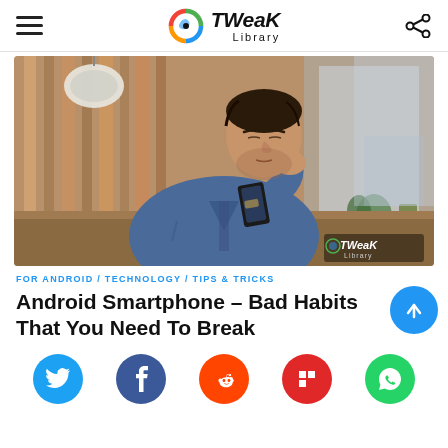Tweak Library
[Figure (photo): Young man in denim jacket sitting at a wooden table, looking at his smartphone with one hand on his cheek, inside a cafe with wooden slat decor in background.]
FOR ANDROID / TECHNOLOGY / TIPS & TRICKS
Android Smartphone – Bad Habits That You Need To Break